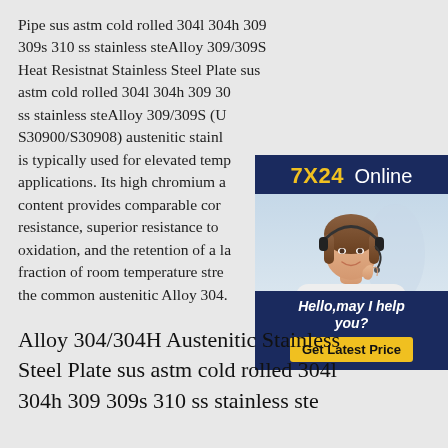Pipe sus astm cold rolled 304l 304h 309 309s 310 ss stainless steAlloy 309/309S Heat Resistnat Stainless Steel Plate sus astm cold rolled 304l 304h 309 30 ss stainless steAlloy 309/309S (U S30900/S30908) austenitic stainl is typically used for elevated temp applications. Its high chromium a content provides comparable cor resistance, superior resistance to oxidation, and the retention of a la fraction of room temperature stre the common austenitic Alloy 304.
[Figure (photo): Online customer service representative advertisement with '7X24 Online' header, photo of a woman wearing a headset, text 'Hello,may I help you?' and a yellow 'Get Latest Price' button on a dark navy background.]
Alloy 304/304H Austenitic Stainless Steel Plate sus astm cold rolled 304l 304h 309 309s 310 ss stainless ste